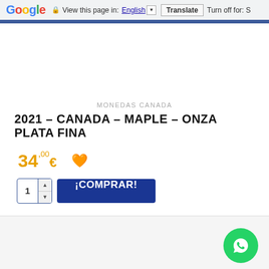Google — View this page in: English [▼] Translate Turn off for: S
MONEDAS CANADA
2021 – CANADA – MAPLE – ONZA PLATA FINA
34,00€
¡COMPRAR!